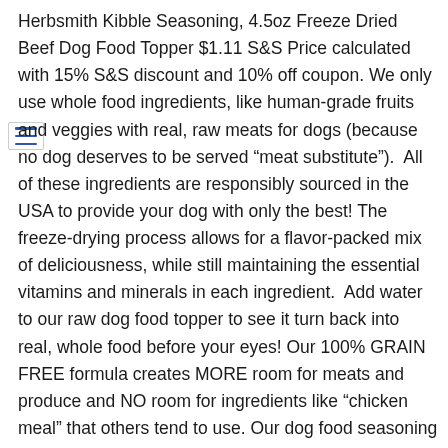Herbsmith Kibble Seasoning, 4.5oz Freeze Dried Beef Dog Food Topper $1.11 S&S Price calculated with 15% S&S discount and 10% off coupon. We only use whole food ingredients, like human-grade fruits and veggies with real, raw meats for dogs (because no dog deserves to be served "meat substitute").  All of these ingredients are responsibly sourced in the USA to provide your dog with only the best! The freeze-drying process allows for a flavor-packed mix of deliciousness, while still maintaining the essential vitamins and minerals in each ingredient.  Add water to our raw dog food topper to see it turn back into real, whole food before your eyes! Our 100% GRAIN FREE formula creates MORE room for meats and produce and NO room for ingredients like "chicken meal" that others tend to use. Our dog food seasoning contains ZERO ADDITIVES, fillers, flavors, dyes, preservatives, meat meals, or grains. Each of our recipes are created by holistic veterinarian Dr. Chris Bessent, who owns and operates Herbsmith's two facilities in Wisconsin.  It's quality you can trust from a veterinarian with over 30 years of experience. Made in